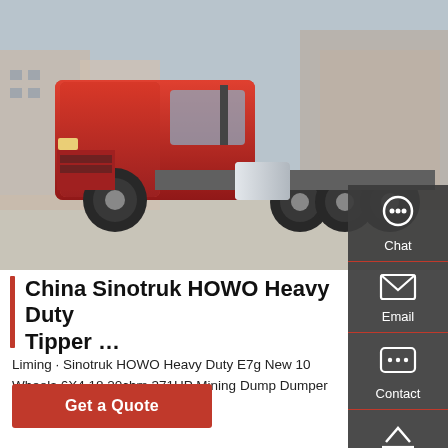[Figure (photo): Red Sinotruk HOWO heavy duty truck/tractor unit parked in an industrial yard with buildings in the background.]
China Sinotruk HOWO Heavy Duty Tipper …
Liming · Sinotruk HOWO Heavy Duty E7g New 10 Wheels 6X4 18 20cbm 371HP Mining Dump Dumper Tipping Tipper Truck for …
Get a Quote